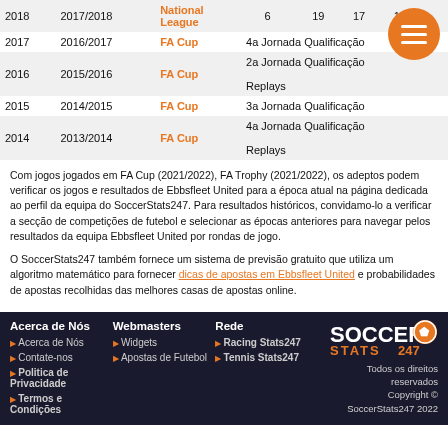| Year | Season | Competition | Round |  |  |  |  |
| --- | --- | --- | --- | --- | --- | --- | --- |
| 2018 | 2017/2018 | National League | 6 | 19 | 17 | 10 |  |
| 2017 | 2016/2017 | FA Cup | 4a Jornada Qualificação |  |  |  |  |
| 2016 | 2015/2016 | FA Cup | 2a Jornada Qualificação Replays |  |  |  |  |
| 2015 | 2014/2015 | FA Cup | 3a Jornada Qualificação |  |  |  |  |
| 2014 | 2013/2014 | FA Cup | 4a Jornada Qualificação Replays |  |  |  |  |
Com jogos jogados em FA Cup (2021/2022), FA Trophy (2021/2022), os adeptos podem verificar os jogos e resultados de Ebbsfleet United para a época atual na página dedicada ao perfil da equipa do SoccerStats247. Para resultados históricos, convidamo-lo a verificar a secção de competições de futebol e selecionar as épocas anteriores para navegar pelos resultados da equipa Ebbsfleet United por rondas de jogo.
O SoccerStats247 também fornece um sistema de previsão gratuito que utiliza um algoritmo matemático para fornecer dicas de apostas em Ebbsfleet United e probabilidades de apostas recolhidas das melhores casas de apostas online.
Acerca de Nós | Webmasters | Rede | SoccerStats247 | Todos os direitos reservados Copyright © SoccerStats247 2022